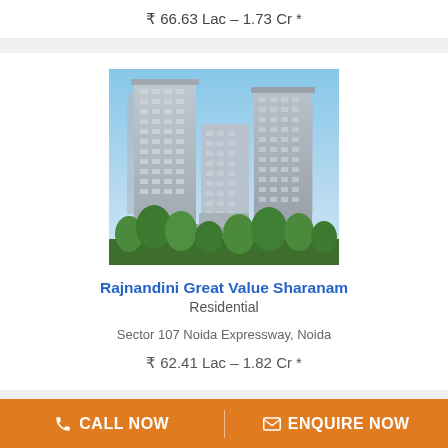₹ 66.63 Lac – 1.73 Cr *
[Figure (photo): Exterior rendering of Rajnandini Great Value Sharanam residential towers — tall high-rise apartment buildings with green trees in the foreground and blue sky backdrop]
Rajnandini Great Value Sharanam
Residential
Sector 107 Noida Expressway, Noida
₹ 62.41 Lac – 1.82 Cr *
CALL NOW
ENQUIRE NOW